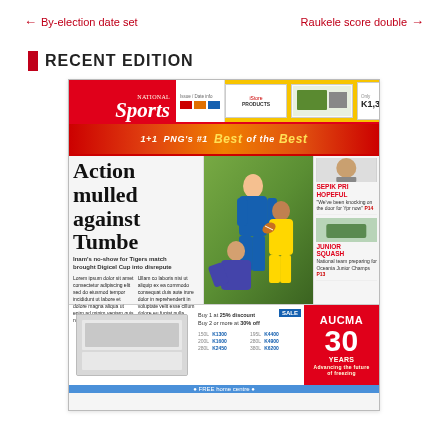← By-election date set     Raukele score double →
RECENT EDITION
[Figure (photo): Thumbnail of National Sports newspaper front page featuring headline 'Action mulled against Tumbe' with rugby match photo, advertisements, and various sections.]